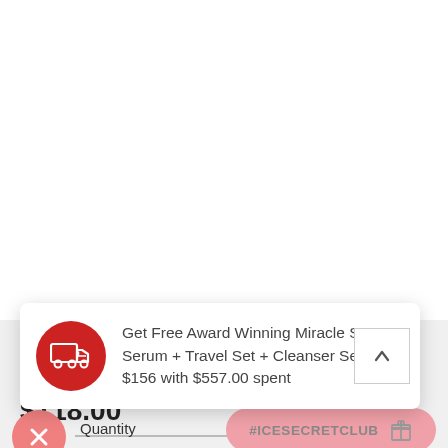[Figure (screenshot): E-commerce tooltip/popup card showing a red delivery truck icon on a red circle background, with promotional text about a free gift with purchase]
Get Free Award Winning Miracle Secret Serum + Travel Set + Cleanser Set worth $156 with $557.00 spent
$118.00
Quantity
#ICESECRETCLUB